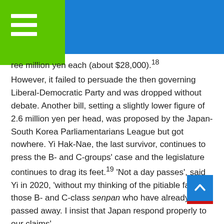ree million yen each (about $28,000).18 However, it failed to persuade the then governing Liberal-Democratic Party and was dropped without debate. Another bill, setting a slightly lower figure of 2.6 million yen per head, was proposed by the Japan-South Korea Parliamentarians League but got nowhere. Yi Hak-Nae, the last survivor, continues to press the B- and C-groups' case and the legislature continues to drag its feet.19 'Not a day passes', said Yi in 2020, 'without my thinking of the pitiable fate of those B- and C-class senpan who have already passed away. I insist that Japan respond properly to our claims'.
Guilt and reconciliation